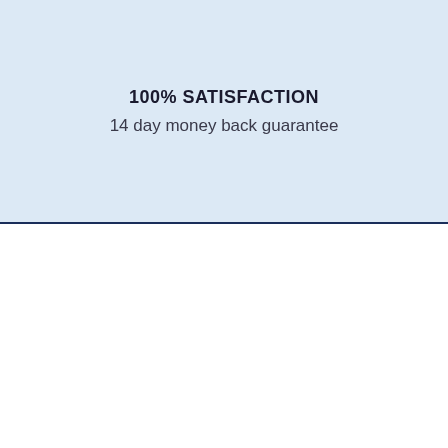100% SATISFACTION
14 day money back guarantee
Can't find the product you're looking for?
[Figure (infographic): Shopping cart icon with badge showing 0 items, white rounded square widget]